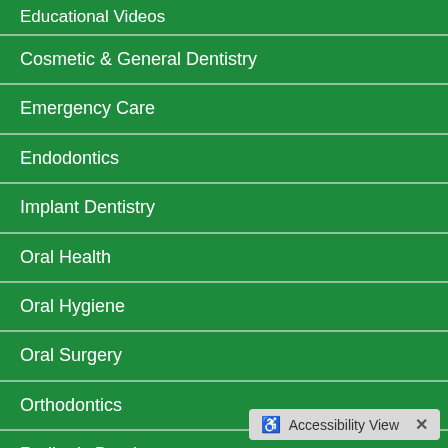Educational Videos
Cosmetic & General Dentistry
Emergency Care
Endodontics
Implant Dentistry
Oral Health
Oral Hygiene
Oral Surgery
Orthodontics
Pediatric Dentistry
Periodontal Therapy